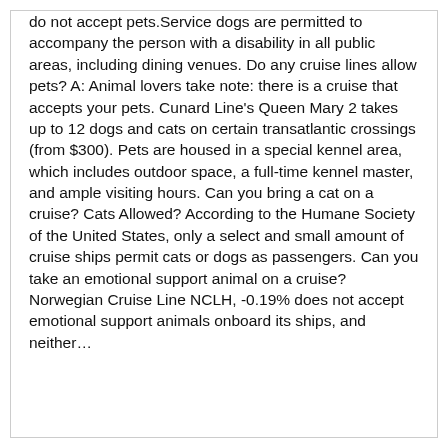do not accept pets.Service dogs are permitted to accompany the person with a disability in all public areas, including dining venues. Do any cruise lines allow pets? A: Animal lovers take note: there is a cruise that accepts your pets. Cunard Line's Queen Mary 2 takes up to 12 dogs and cats on certain transatlantic crossings (from $300). Pets are housed in a special kennel area, which includes outdoor space, a full-time kennel master, and ample visiting hours. Can you bring a cat on a cruise? Cats Allowed? According to the Humane Society of the United States, only a select and small amount of cruise ships permit cats or dogs as passengers. Can you take an emotional support animal on a cruise? Norwegian Cruise Line NCLH, -0.19% does not accept emotional support animals onboard its ships, and neither…